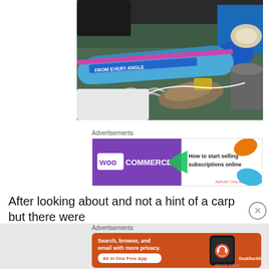[Figure (photo): Fishing gear and equipment including blue PVC pipes, rope, metal springs/coils, and other tackle items on a green canvas/bag background. A text sticker reading 'FROM EVERY ANGLE' is visible on one of the pipes.]
Advertisements
[Figure (other): WooCommerce advertisement banner: purple left side with WooCommerce logo and green arrow, white right side with text 'How to start selling subscriptions online' and orange/blue decorative shapes.]
After looking about and not a hint of a carp but there were
Advertisements
[Figure (other): DuckDuckGo advertisement banner on orange/red background: left side with text 'Search, browse, and email with more privacy. All in One Free App', right side with DuckDuckGo phone mockup and logo.]